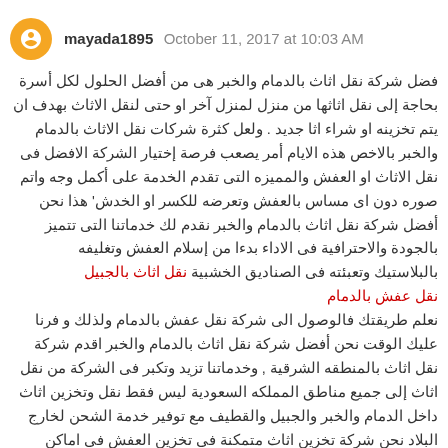mayada1895  October 11, 2017 at 10:03 AM
فضل شركة نقل اثاث بالدمام والخبر هى من أفضل الحلول لكل أسرة بحاجة إلى نقل اثاثها من منزل لمنزل آخر او حتى لنقل الاثاث بهدف ان يتم تخزينه او شراء اثا جديد . ولعل كثرة شركات نقل الاثاث بالدمام والخبر بالاخص هذه الايام أمر يصعب فرصة إختيار الشركة الافضل فى نقل الاثاث او العفش والمميزه التى تقدم الخدمة على أكمل وجه واتم صوره دون اى مساس بالعفش وتعرضه للكسر او الخدش' هذا نحن أفضل شركة نقل اثاث بالدمام والخبر نقدم لك خدماتنا التى تتميز بالجودة والاحترافية فى الاداء بدءا من إسلام العفش وتغليفه بالبلاستيك وتعبئته فى الصناديق الخشبية نقل اثاث بالجبيل
نقل عفش بالدمام
نعلم طريقتك فالوصول الى شركة نقل عفش بالدمام ولذلك و فرنا عليك الوقت نحن أفضل شركة نقل اثاث بالدمام والخبر اقدم شركة نقل اثاث بالمنطقه الشرقية , وخدماتنا تزيد وتكبر فى الشركة من نقل اثاث إلى جميع مناطق المملكه السعودية ليس فقط نقل وتخزين اثاث داخل الدمام والخبر والجبيل والقطيف مع توفير خدمة الشحن لخارج البلاد نحن شركة تخزين اثاث متمكنة فى تخزين العفش فى اماكن تخزين خاصة للاثاث, كما انا اختيارك أفضل شركة نقل اثاث بالدمام والخبر شركة نقل عفش بالقطيف